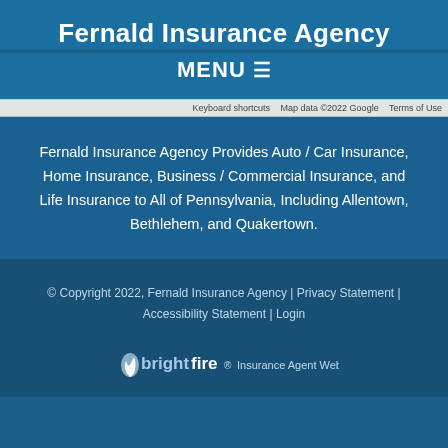Fernald Insurance Agency
MENU ≡
[Figure (screenshot): Google Maps footer strip showing keyboard shortcuts, map data ©2022 Google, Terms of Use]
Fernald Insurance Agency Provides Auto / Car Insurance, Home Insurance, Business / Commercial Insurance, and Life Insurance to All of Pennsylvania, Including Allentown, Bethlehem, and Quakertown.
© Copyright 2022, Fernald Insurance Agency | Privacy Statement | Accessibility Statement | Login
[Figure (logo): BrightFire Insurance Agent Websites logo]